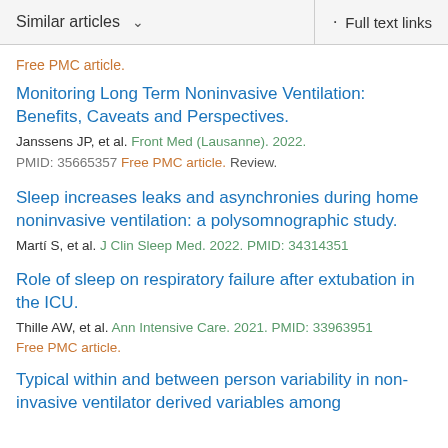Similar articles  ∨   Full text links
Free PMC article.
Monitoring Long Term Noninvasive Ventilation: Benefits, Caveats and Perspectives.
Janssens JP, et al. Front Med (Lausanne). 2022.
PMID: 35665357 Free PMC article. Review.
Sleep increases leaks and asynchronies during home noninvasive ventilation: a polysomnographic study.
Martí S, et al. J Clin Sleep Med. 2022. PMID: 34314351
Role of sleep on respiratory failure after extubation in the ICU.
Thille AW, et al. Ann Intensive Care. 2021. PMID: 33963951
Free PMC article.
Typical within and between person variability in non-invasive ventilator derived variables among